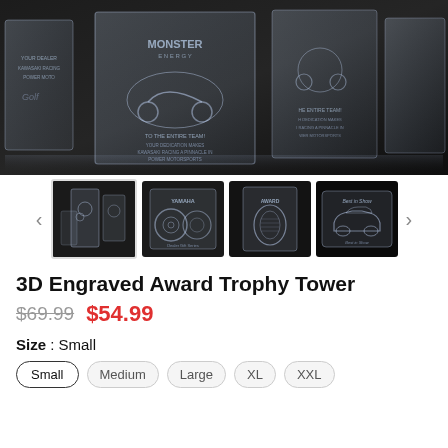[Figure (photo): Main product photo showing multiple 3D laser-engraved crystal award trophy towers with motorcycle and Monster Energy branding, displayed on black background]
[Figure (photo): Thumbnail 1: Multiple crystal trophy towers of different sizes with motorcycle laser engravings]
[Figure (photo): Thumbnail 2: Crystal trophy with wheel/tire laser engraving and text]
[Figure (photo): Thumbnail 3: Crystal trophy with oval/medallion laser engraving and award text]
[Figure (photo): Thumbnail 4: Crystal trophy with BMW car laser engraving and 'Best in Show' text]
3D Engraved Award Trophy Tower
$69.99  $54.99
Size : Small
Small
Medium
Large
XL
XXL